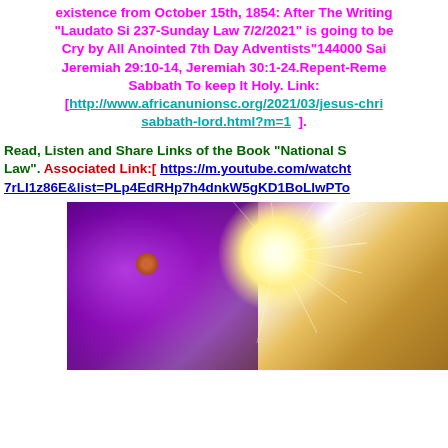existence from October 15th, 1854: After The Writing... "Laudato Si 237-Sunday Law 7/2/2021" is going to be... Cry by All Anointed 7th Day Adventists"144000 Sai... Jeremiah 29:10-14, Jeremiah 30:1-24.Repent-Reme... Sabbath To keep It Holy. Link: [http://www.africanunionsc.org/2021/03/jesus-chri... sabbath-lord.html?m=1  ].
Read, Listen and Share Links of the Book "National S... Law". Associated Link:[ https://m.youtube.com/watch... 7rLI1z86E&list=PLp4EdRHp7h4dnkW5gKD1BoLIwPTo...
[Figure (photo): A cosmic/spiritual image with bright white light burst emanating from center-right, purple nebula-like glow on left side, and golden/brown stardust on the right. A reddish-brown planet is visible in the middle-left area.]